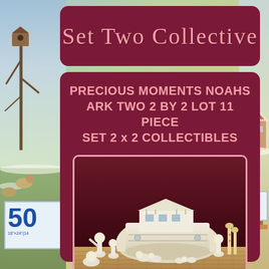Set Two Collective
PRECIOUS MOMENTS NOAHS ARK TWO 2 BY 2 LOT 11 PIECE SET 2 x 2 COLLECTIBLES
[Figure (photo): Photograph of Precious Moments Noah's Ark collectible figurine set with small ceramic animal and character figures arranged on a woven mat surface. eBay watermark visible at bottom of image.]